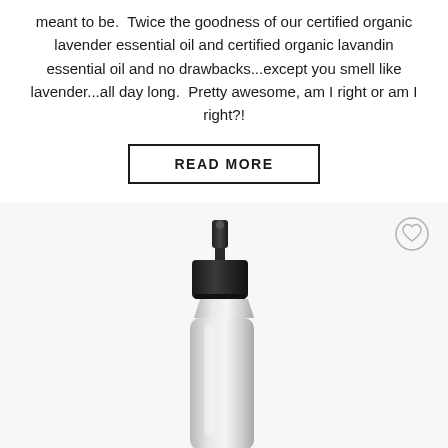meant to be. Twice the goodness of our certified organic lavender essential oil and certified organic lavandin essential oil and no drawbacks...except you smell like lavender...all day long. Pretty awesome, am I right or am I right?!
READ MORE
[Figure (photo): A silver/aluminum spray bottle with a black pump spray cap, photographed against a light gray background. A small circular heart/wishlist icon appears in the upper right corner of the product image area.]